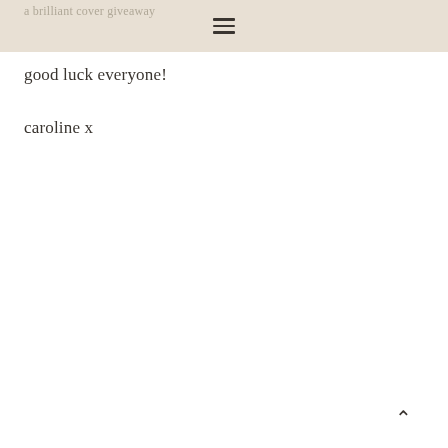a brilliant cover giveaway
good luck everyone!
caroline x